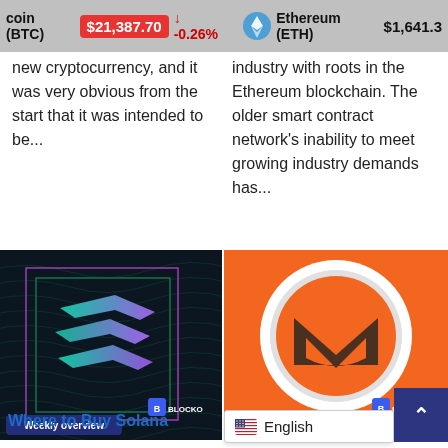coin (BTC) $21,387.70 ↓ -0.26%   Ethereum (ETH) $1,641.3
new cryptocurrency, and it was very obvious from the start that it was intended to be...
industry with roots in the Ethereum blockchain. The older smart contract network's inability to meet growing industry demands has...
[Figure (photo): Solana logo on dark background with wave pattern and teal/purple box outline. BLOCKON Weekly overview badge.]
[Figure (logo): Monero (XMR) coin logo on orange background. BLOCKON Weekly overview badge.]
Where to Buy Solana
English